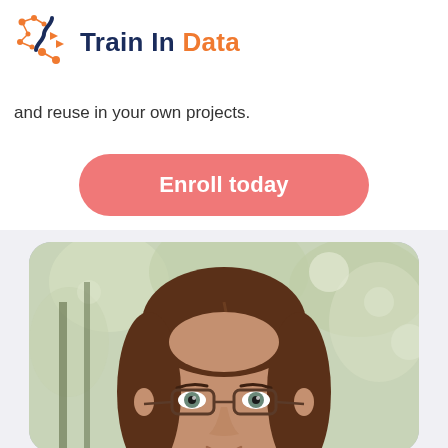[Figure (logo): Train In Data logo with orange chain/data icon and dark blue and orange text]
and reuse in your own projects.
Enroll today
[Figure (photo): Headshot photo of a woman with brown hair and glasses, outdoor background with trees]